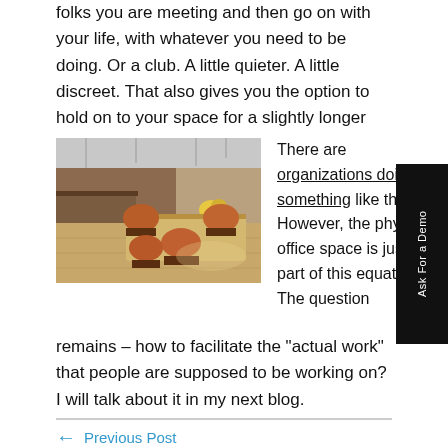folks you are meeting and then go on with your life, with whatever you need to be doing. Or a club. A little quieter. A little discreet. That also gives you the option to hold on to your space for a slightly longer time.
[Figure (photo): Interior photo of a modern coworking or office space with wooden floors, warm-toned chairs, and a kitchen/bar area in the background. Natural light from large windows.]
There are organizations doing something like that. However, the physical office space is just a part of this equation. The question remains – how to facilitate the "actual work" that people are supposed to be working on? I will talk about it in my next blog.
← Previous Post